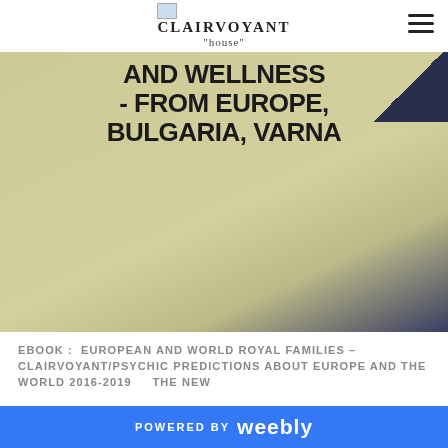CLAIRVOYANT house
[Figure (photo): Hero banner image with tan/beige sandy texture background showing large bold text: 'AND WELLNESS (cut off) - FROM EUROPE, BULGARIA, VARNA'. Dark navy corner visible top right.]
- FROM EUROPE, BULGARIA, VARNA
EBOOK :  EUROPEAN AND WORLD ROYAL FAMILIES – CLAIRVOYANT/PSYCHIC PREDICTIONS ABOUT EUROPE AND THE WORLD 2016-2019     THE NEW
POWERED BY weebly